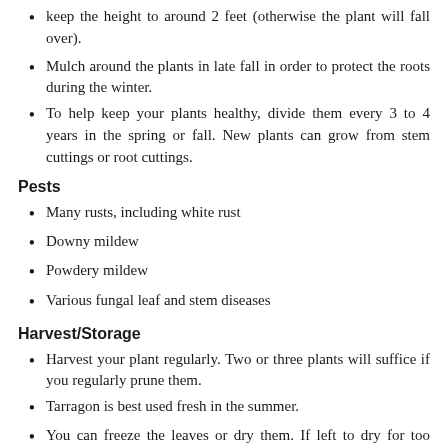keep the height to around 2 feet (otherwise the plant will fall over).
Mulch around the plants in late fall in order to protect the roots during the winter.
To help keep your plants healthy, divide them every 3 to 4 years in the spring or fall. New plants can grow from stem cuttings or root cuttings.
Pests
Many rusts, including white rust
Downy mildew
Powdery mildew
Various fungal leaf and stem diseases
Harvest/Storage
Harvest your plant regularly. Two or three plants will suffice if you regularly prune them.
Tarragon is best used fresh in the summer.
You can freeze the leaves or dry them. If left to dry for too long, the leaves lose their flavor so be careful. As soon as the